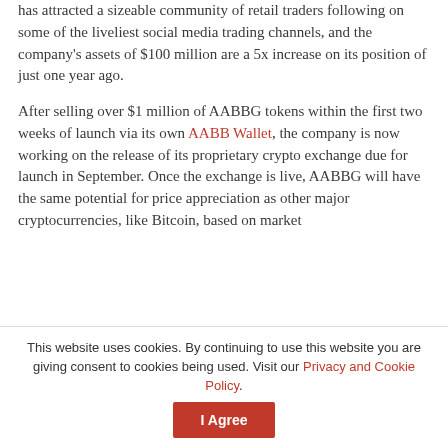has attracted a sizeable community of retail traders following on some of the liveliest social media trading channels, and the company's assets of $100 million are a 5x increase on its position of just one year ago.
After selling over $1 million of AABBG tokens within the first two weeks of launch via its own AABB Wallet, the company is now working on the release of its proprietary crypto exchange due for launch in September. Once the exchange is live, AABBG will have the same potential for price appreciation as other major cryptocurrencies, like Bitcoin, based on market
This website uses cookies. By continuing to use this website you are giving consent to cookies being used. Visit our Privacy and Cookie Policy. I Agree